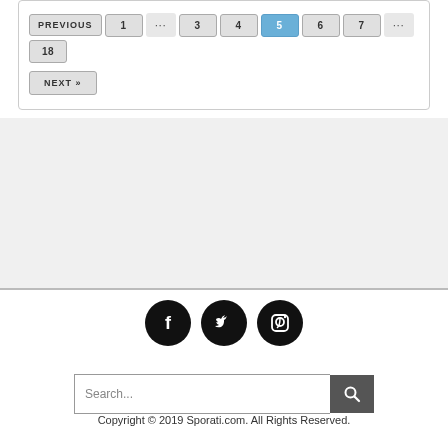[Figure (other): Pagination navigation with PREVIOUS, 1, ..., 3, 4, 5 (active), 6, 7, ..., 18 buttons and a NEXT >> button below]
[Figure (other): Gray advertisement/banner placeholder area]
[Figure (other): Social media icons: Facebook, Twitter, Pinterest (black circles)]
[Figure (other): Search bar with text input placeholder 'Search...' and dark search button]
Copyright © 2019 Sporati.com. All Rights Reserved.